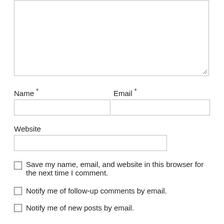[Figure (screenshot): A web comment form showing a large text area (partially visible at top), followed by Name and Email fields side by side, a Website field, and three checkbox options: 'Save my name, email, and website in this browser for the next time I comment.', 'Notify me of follow-up comments by email.', and 'Notify me of new posts by email.']
Name *
Email *
Website
Save my name, email, and website in this browser for the next time I comment.
Notify me of follow-up comments by email.
Notify me of new posts by email.